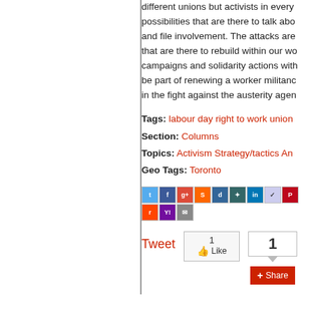different unions but activists in every possibilities that are there to talk about and file involvement. The attacks are that are there to rebuild within our work campaigns and solidarity actions with be part of renewing a worker militancy in the fight against the austerity agen
Tags: labour day right to work union
Section: Columns
Topics: Activism Strategy/tactics An
Geo Tags: Toronto
[Figure (screenshot): Social sharing icon bar with Twitter, Facebook, Google+, StumbleUpon, Digg, Delicious, LinkedIn, Reddit, Pinterest, Reddit, Yahoo, Email icons]
Tweet  1 Like  1 Share
About  Copyright and Le